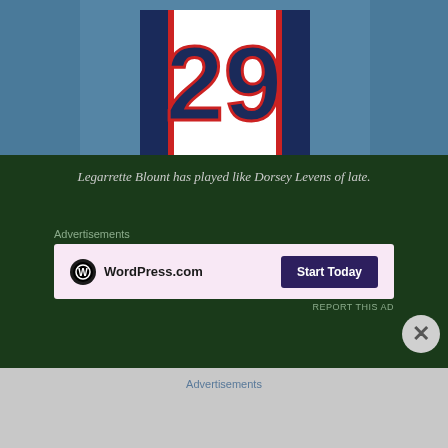[Figure (photo): Football player wearing New England Patriots jersey number 29, Legarrette Blount, shown from chest down against a blue background]
Legarrette Blount has played like Dorsey Levens of late.
Advertisements
[Figure (screenshot): WordPress.com advertisement banner with pink background showing WordPress.com logo and Start Today button]
REPORT THIS AD
Now some may point out the Patriots aren't the same they were a year ago and they're right. Brady has had modest season by his standards. Yet the Pats have shi strategies. In their last two games against the Ravens Buffalo Bills, they rushed for 142 and 267 yards resp
Advertisements
REPORT THIS AD